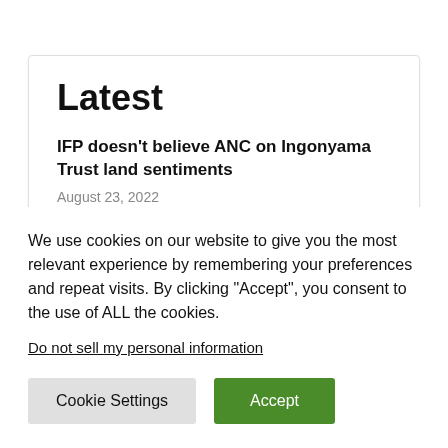Latest
IFP doesn't believe ANC on Ingonyama Trust land sentiments
August 23, 2022
Islamabad-2022/08/24
We use cookies on our website to give you the most relevant experience by remembering your preferences and repeat visits. By clicking “Accept”, you consent to the use of ALL the cookies.
Do not sell my personal information.
Cookie Settings
Accept